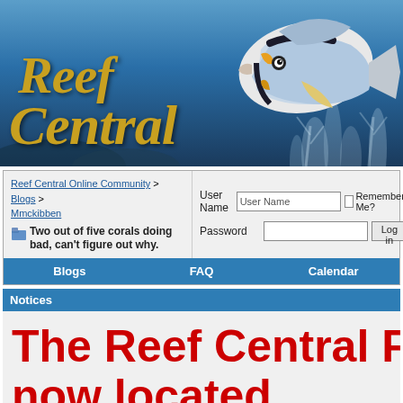[Figure (illustration): Reef Central website banner with blue underwater background, coral, and a colorful tropical fish (surgeonfish). 'Reef Central' text in golden italic serif font.]
Reef Central Online Community > Blogs > Mmckibben
Two out of five corals doing bad, can't figure out why.
User Name  Password  Remember Me?  Log in
Blogs   FAQ   Calendar
Notices
The Reef Central Fo- now located...